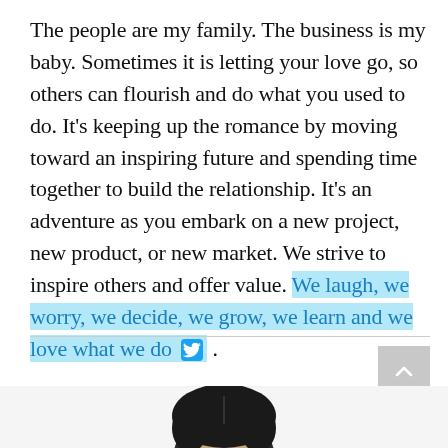The people are my family. The business is my baby. Sometimes it is letting your love go, so others can flourish and do what you used to do. It's keeping up the romance by moving toward an inspiring future and spending time together to build the relationship. It's an adventure as you embark on a new project, new product, or new market. We strive to inspire others and offer value. We laugh, we worry, we decide, we grow, we learn and we love what we do [twitter icon] .
[Figure (photo): Partial photo of a person with dark hair, visible from top of head, at the bottom of the page]